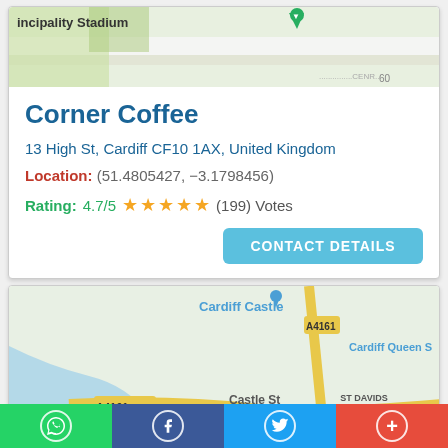[Figure (map): Partial map view showing Principality Stadium area in Cardiff]
Corner Coffee
13 High St, Cardiff CF10 1AX, United Kingdom
Location: (51.4805427, −3.1798456)
Rating: 4.7/5 ★★★★★ (199) Votes
CONTACT DETAILS
[Figure (map): Map view of Cardiff city centre showing Cardiff Castle, Cardiff Market, Castle St, A4161, Cardiff Queen S, ST DAVIDS CENTRE, Treetop Adventure Golf, Mark St, Brook St, Westgate St]
Share buttons: WhatsApp, Facebook, Twitter, More (+)